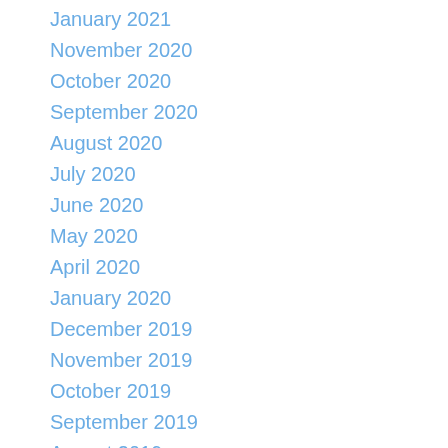January 2021
November 2020
October 2020
September 2020
August 2020
July 2020
June 2020
May 2020
April 2020
January 2020
December 2019
November 2019
October 2019
September 2019
August 2019
July 2019
May 2019
December 2018
November 2018
September 2018
July 2018
June 2018